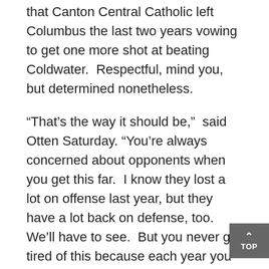that Canton Central Catholic left Columbus the last two years vowing to get one more shot at beating Coldwater.  Respectful, mind you, but determined nonetheless.
“That’s the way it should be,”  said Otten Saturday.  “You’re always concerned about opponents when you get this far.  I know they lost a lot on offense last year, but they have a lot back on defense, too.  We’ll have to see.  But you never get tired of this because each year you do it with a different group of kids.”
He left for Coldwater Saturday night concerned, of course, but smiling.  This was no story line, but something as real, and as good, as you can hope for in high school football –  to maintain the expectation and reputation of being a perpetual state champion